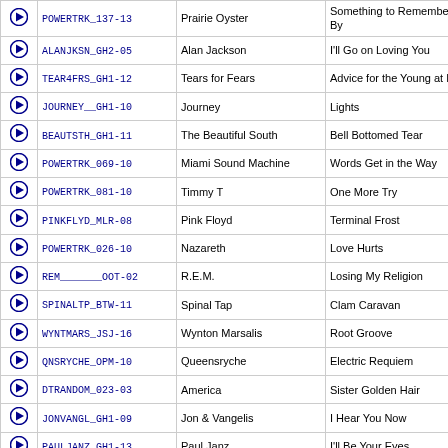|  | ID | Artist | Song |
| --- | --- | --- | --- |
| ▶ | POWERTRK_137-13 | Prairie Oyster | Something to Remember You By |
| ▶ | ALANJKSN_GH2-05 | Alan Jackson | I'll Go on Loving You |
| ▶ | TEAR4FRS_GH1-12 | Tears for Fears | Advice for the Young at Heart |
| ▶ | JOURNEY__GH1-10 | Journey | Lights |
| ▶ | BEAUTSTH_GH1-11 | The Beautiful South | Bell Bottomed Tear |
| ▶ | POWERTRK_069-10 | Miami Sound Machine | Words Get in the Way |
| ▶ | POWERTRK_081-10 | Timmy T | One More Try |
| ▶ | PINKFLYD_MLR-08 | Pink Floyd | Terminal Frost |
| ▶ | POWERTRK_026-10 | Nazareth | Love Hurts |
| ▶ | REM_______OOT-02 | R.E.M. | Losing My Religion |
| ▶ | SPINALTP_BTW-11 | Spinal Tap | Clam Caravan |
| ▶ | WYNTMARS_JSJ-16 | Wynton Marsalis | Root Groove |
| ▶ | QNSRYCHE_OPM-10 | Queensryche | Electric Requiem |
| ▶ | DTRANDOM_023-03 | America | Sister Golden Hair |
| ▶ | JONVANGL_GH1-09 | Jon & Vangelis | I Hear You Now |
| ▶ | PAULJANZ_GH1-13 | Paul Janz | I'll Be Your Eyes |
| ▶ | HOTTRACK_005-10 | John Michael Montgomery | No Man's Land |
| ▶ | POWERTRK_083-14 | Nicolette Larson | Lotta Love |
| ▶ | PINKFLYD_SOS-02 | Pink Floyd | Remember a Day |
| ▶ | POWERTRK_096-14 | Ricky Nelson | Poor Little Fool |
| ▶ | POWERTRK_098-12 | Alan Jackson | Livin' on Love |